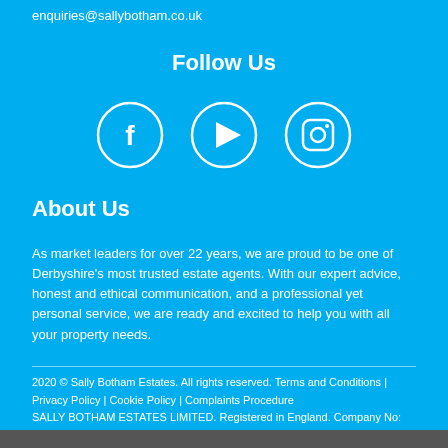enquiries@sallybotham.co.uk
Follow Us
[Figure (illustration): Three circular social media icons: Facebook (f), YouTube/play button (triangle), and Instagram (camera/square)]
About Us
As market leaders for over 22 years, we are proud to be one of Derbyshire's most trusted estate agents. With our expert advice, honest and ethical communication, and a professional yet personal service, we are ready and excited to help you with all your property needs.
2020 © Sally Botham Estates. All rights reserved. Terms and Conditions | Privacy Policy | Cookie Policy | Complaints Procedure
SALLY BOTHAM ESTATES LIMITED. Registered in England. Company No: 04884262. Registered Office Address: St Helen's House, King Street, Derby, DE1 3EE.